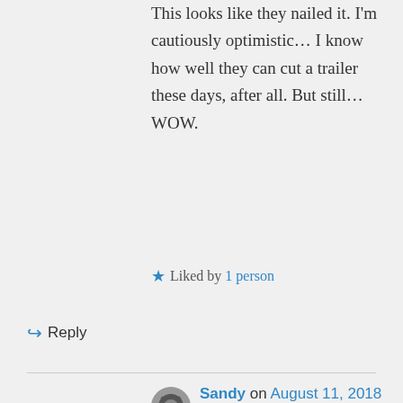This looks like they nailed it. I'm cautiously optimistic… I know how well they can cut a trailer these days, after all. But still… WOW.
★ Liked by 1 person
↪ Reply
Sandy on August 11, 2018 at 22:40
Yes to everything you said! 🙂 I'm already thinking about wearing a white tank top and Adidas when I watch the movie, I'm that excited haha